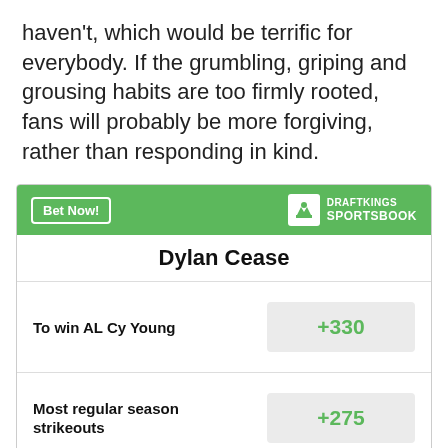haven't, which would be terrific for everybody. If the grumbling, griping and grousing habits are too firmly rooted, fans will probably be more forgiving, rather than responding in kind.
| Bet | Odds |
| --- | --- |
| Dylan Cease |  |
| To win AL Cy Young | +330 |
| Most regular season strikeouts | +275 |
Odds/Lines subject to change. See draftkings.com for details.